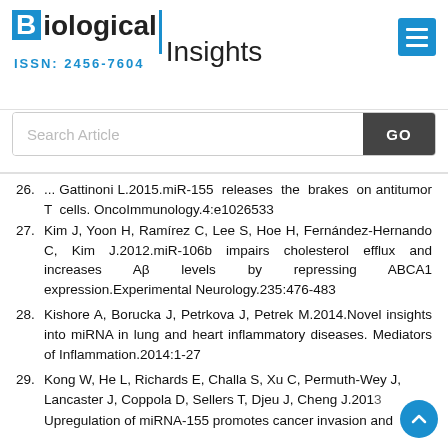[Figure (logo): Biological Insights journal logo with ISSN 2456-7604]
[Figure (screenshot): Search Article input bar with GO button]
26. [truncated] ...Gattinoni L.2015.miR-155 releases the brakes on antitumor T cells. OncoImmunology.4:e1026533
27. Kim J, Yoon H, Ramírez C, Lee S, Hoe H, Fernández-Hernando C, Kim J.2012.miR-106b impairs cholesterol efflux and increases Aβ levels by repressing ABCA1 expression.Experimental Neurology.235:476-483
28. Kishore A, Borucka J, Petrkova J, Petrek M.2014.Novel insights into miRNA in lung and heart inflammatory diseases. Mediators of Inflammation.2014:1-27
29. Kong W, He L, Richards E, Challa S, Xu C, Permuth-Wey J, Lancaster J, Coppola D, Sellers T, Djeu J, Cheng J.2013. Upregulation of miRNA-155 promotes cancer invasion and...